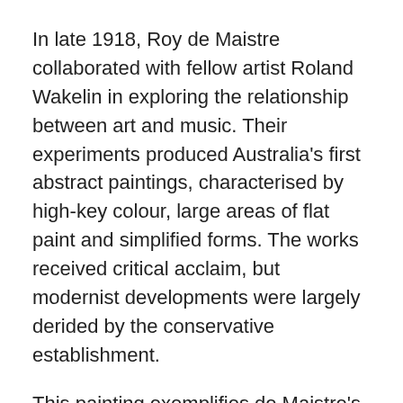In late 1918, Roy de Maistre collaborated with fellow artist Roland Wakelin in exploring the relationship between art and music. Their experiments produced Australia's first abstract paintings, characterised by high-key colour, large areas of flat paint and simplified forms. The works received critical acclaim, but modernist developments were largely derided by the conservative establishment.
This painting exemplifies de Maistre's theory of colour harmonisation based on analogies between colours of the spectrum and notes of the musical scale. It is also aligned with de Maistre's search for spiritual meaning through abstraction, akin to other artists such as Kandinsky who were interested in the ideas of the theosophy and anthroposophy movements, spiritualism and the occult.
Text from the Art Gallery of New South Wales website